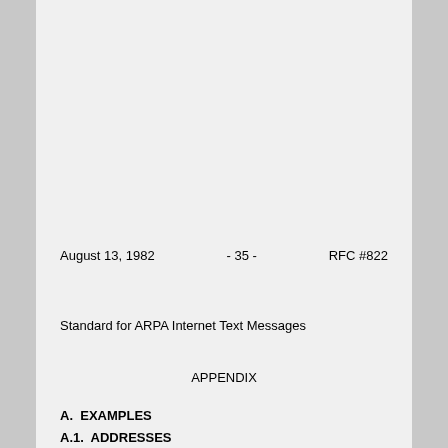August 13, 1982                - 35 -                RFC #822
Standard for ARPA Internet Text Messages
APPENDIX
A.  EXAMPLES
A.1.  ADDRESSES